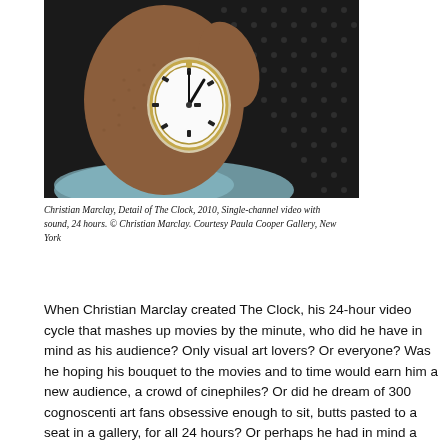[Figure (photo): Close-up photograph of a hand holding a pocket watch, showing the watch face with hands pointing to approximately 1:00, against a dark polka-dot fabric background.]
Christian Marclay, Detail of The Clock, 2010, Single-channel video with sound, 24 hours. © Christian Marclay. Courtesy Paula Cooper Gallery, New York
When Christian Marclay created The Clock, his 24-hour video cycle that mashes up movies by the minute, who did he have in mind as his audience? Only visual art lovers? Or everyone? Was he hoping his bouquet to the movies and to time would earn him a new audience, a crowd of cinephiles? Or did he dream of 300 cognoscenti art fans obsessive enough to sit, butts pasted to a seat in a gallery, for all 24 hours? Or perhaps he had in mind a very rich collector who is also a film fan, willing to buy video at an unusually high price because of its pop culture references–or